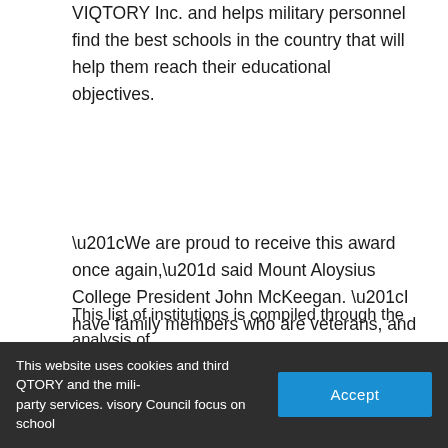VIQTORY Inc. and helps military personnel find the best schools in the country that will help them reach their educational objectives.
“We are proud to receive this award once again,” said Mount Aloysius College President John McKeegan. “I have family members who are veterans, and solid support of military personnel is very important to us. I’m proud that, at Mount Aloysius, service to our country is honored by faculty, staff, and institutional policy.”
This list of institutions is compiled through the analysis of VIQTORY and the Military Advisory Council focus on school student retention, graduation percentages, job placement...
This website uses cookies and third party services.